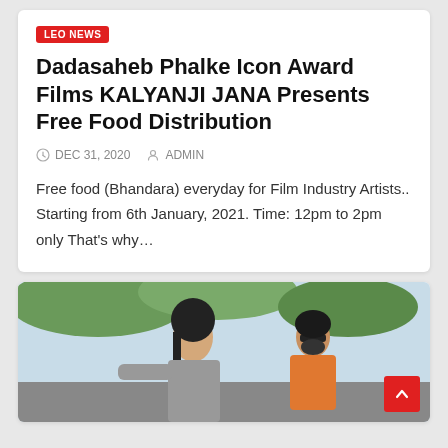LEO NEWS
Dadasaheb Phalke Icon Award Films KALYANJI JANA Presents Free Food Distribution
DEC 31, 2020   ADMIN
Free food (Bhandara) everyday for Film Industry Artists.. Starting from 6th January, 2021. Time: 12pm to 2pm only That’s why…
[Figure (photo): Two men photographed outdoors, one with long hair in the foreground and another wearing sunglasses and an orange shirt in the background]